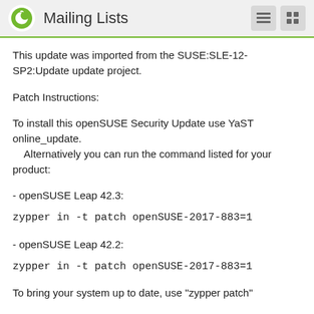Mailing Lists
This update was imported from the SUSE:SLE-12-SP2:Update update project.
Patch Instructions:
To install this openSUSE Security Update use YaST online_update.
    Alternatively you can run the command listed for your product:
- openSUSE Leap 42.3:
zypper in -t patch openSUSE-2017-883=1
- openSUSE Leap 42.2:
zypper in -t patch openSUSE-2017-883=1
To bring your system up to date, use "zypper patch"